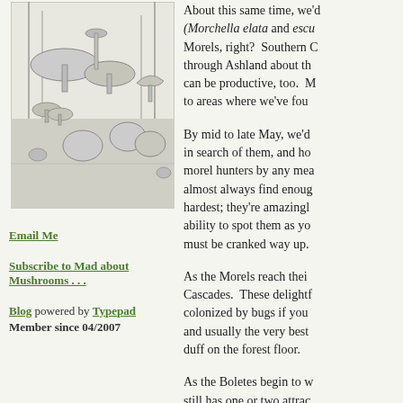[Figure (illustration): Black and white illustration of various mushrooms in a forest scene]
Email Me
Subscribe to Mad about Mushrooms . . .
Blog powered by Typepad
Member since 04/2007
About this same time, we'd... (Morchella elata and escu... Morels, right? Southern C... through Ashland about th... can be productive, too. M... to areas where we've fou...
By mid to late May, we'd... in search of them, and ho... morel hunters by any mea... almost always find enoug... hardest; they're amazingl... ability to spot them as yo... must be cranked way up.
As the Morels reach thei... Cascades. These delightf... colonized by bugs if you ... and usually the very best ... duff on the forest floor.
As the Boletes begin to w... still has one or two attrac... Bear Grass is in bloom, w... Coral (Ramaria rasilism...